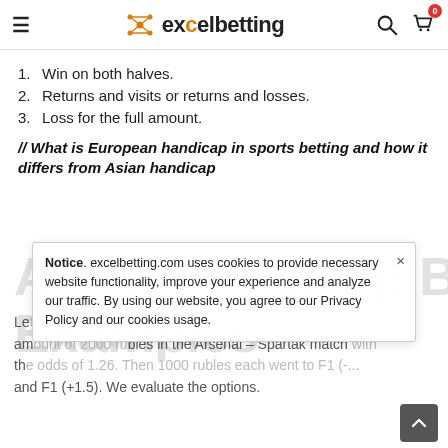excelbetting
1. Win on both halves.
2. Returns and visits or returns and losses.
3. Loss for the full amount.
// What is European handicap in sports betting and how it differs from Asian handicap
[Figure (other): Watermark text reading 'Asian Handicap Betting' and 'Examples' in large light gray bold font]
Let's s... (+0.25) in the amount of 2000 rubles in the Arsenal – Spartak match with the odds of 1.26. Then 1000 rubles each went to F1 (-... and F1 (+1.5). We evaluate the options.
Notice. excelbetting.com uses cookies to provide necessary website functionality, improve your experience and analyze our traffic. By using our website, you agree to our Privacy Policy and our cookies usage.